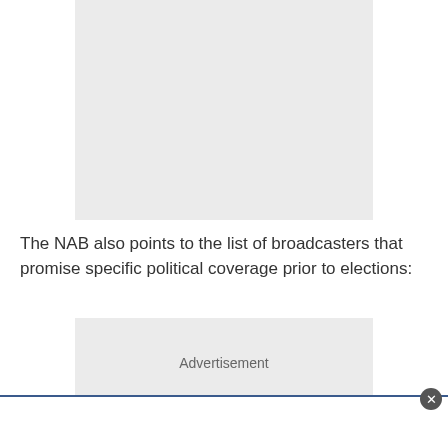[Figure (other): Gray placeholder box at top of page]
The NAB also points to the list of broadcasters that promise specific political coverage prior to elections:
[Figure (other): Advertisement placeholder box]
[Figure (other): Bottom overlay bar with close button]